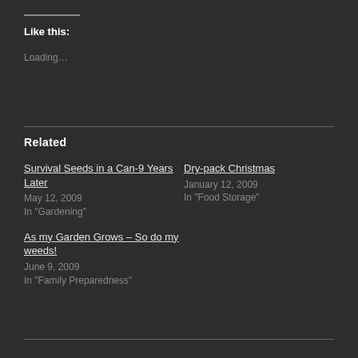Like this:
Loading...
Related
Survival Seeds in a Can-9 Years Later
May 12, 2009
In "Gardening"
Dry-pack Christmas
January 12, 2009
In "Food Storage"
As my Garden Grows – So do my weeds!
June 9, 2009
In "Family Preparedness"